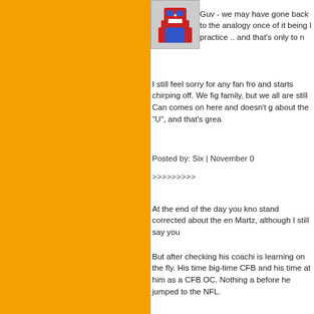[Figure (photo): Avatar image of a character with red, white and blue patriotic theme]
Guv - we may have gone back to the analogy once of it being like practice .. and that's only to n
I still feel sorry for any fan fro and starts chirping off. We fig family, but we all are still Can comes on here and doesn't g about the "U", and that's grea
Posted by: Six | November 0
>>>>>>>>>
At the end of the day you kno stand corrected about the en Martz, although I still say you
But after checking his coachi is learning on the fly. His time big-time CFB and his time at him as a CFB OC. Nothing a before he jumped to the NFL.
BUT, he seems to be in a go